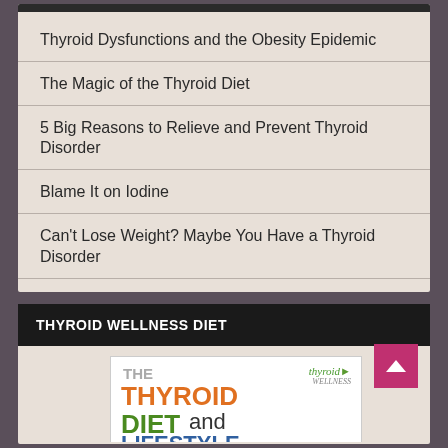Thyroid Dysfunctions and the Obesity Epidemic
The Magic of the Thyroid Diet
5 Big Reasons to Relieve and Prevent Thyroid Disorder
Blame It on Iodine
Can't Lose Weight? Maybe You Have a Thyroid Disorder
THYROID WELLNESS DIET
[Figure (illustration): Book cover for 'The Thyroid Diet and Lifestyle' with thyroid wellness logo in top right corner. Title text shows 'THE' in gray, 'THYROID' in orange, 'DIET' in green, 'and' in dark gray, 'LIFESTYLE' in blue.]